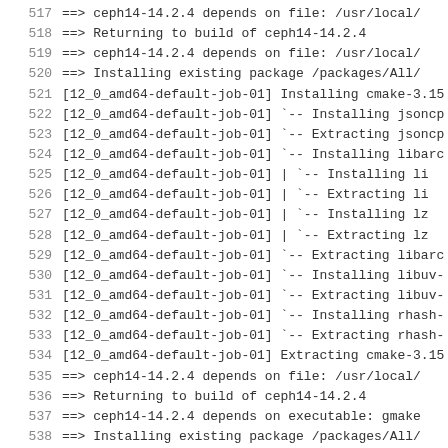517  ===>    ceph14-14.2.4 depends on file: /usr/local/
518  ===>    Returning to build of ceph14-14.2.4
519  ===>    ceph14-14.2.4 depends on file: /usr/local/
520  ===>    Installing existing package /packages/All/
521  [12_0_amd64-default-job-01] Installing cmake-3.15
522  [12_0_amd64-default-job-01] `-- Installing jsoncp
523  [12_0_amd64-default-job-01] `-- Extracting jsoncp
524  [12_0_amd64-default-job-01] `-- Installing libarc
525  [12_0_amd64-default-job-01] |   `-- Installing li
526  [12_0_amd64-default-job-01] |   `-- Extracting li
527  [12_0_amd64-default-job-01] |   `-- Installing lz
528  [12_0_amd64-default-job-01] |   `-- Extracting lz
529  [12_0_amd64-default-job-01] `-- Extracting libarc
530  [12_0_amd64-default-job-01] `-- Installing libuv-
531  [12_0_amd64-default-job-01] `-- Extracting libuv-
532  [12_0_amd64-default-job-01] `-- Installing rhash-
533  [12_0_amd64-default-job-01] `-- Extracting rhash-
534  [12_0_amd64-default-job-01] Extracting cmake-3.15
535  ===>    ceph14-14.2.4 depends on file: /usr/local/
536  ===>    Returning to build of ceph14-14.2.4
537  ===>    ceph14-14.2.4 depends on executable: gmake
538  ===>    Installing existing package /packages/All/